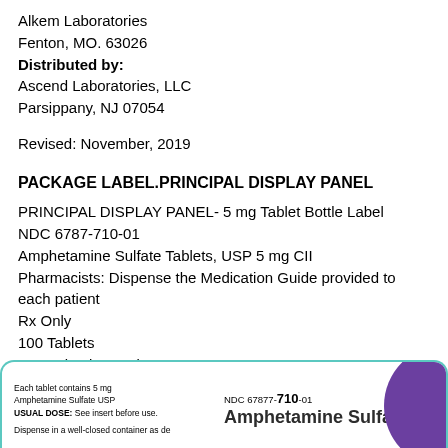Alkem Laboratories
Fenton, MO. 63026
Distributed by:
Ascend Laboratories, LLC
Parsippany, NJ 07054
Revised: November, 2019
PACKAGE LABEL.PRINCIPAL DISPLAY PANEL
PRINCIPAL DISPLAY PANEL- 5 mg Tablet Bottle Label
NDC 6787-710-01
Amphetamine Sulfate Tablets, USP 5 mg CII
Pharmacists: Dispense the Medication Guide provided to each patient
Rx Only
100 Tablets
Ascend Laboratories, LLC
[Figure (other): Package label box with teal border showing: 'Each tablet contains 5 mg Amphetamine Sulfate USP USUAL DOSE: See insert before use.' on the left, and 'NDC 67877-710-01 Amphetamine Sulfate' in bold on the right with a purple arc design on the far right.]